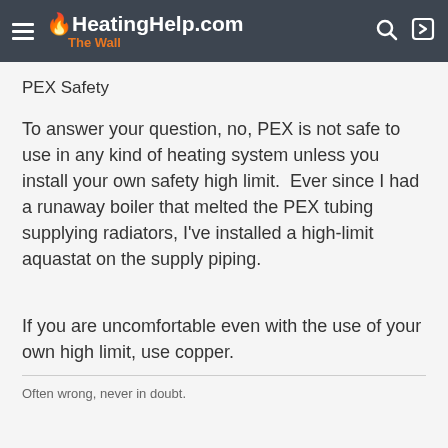HeatingHelp.com The Wall
PEX Safety
To answer your question, no, PEX is not safe to use in any kind of heating system unless you install your own safety high limit.  Ever since I had a runaway boiler that melted the PEX tubing supplying radiators, I've installed a high-limit aquastat on the supply piping.
If you are uncomfortable even with the use of your own high limit, use copper.
Often wrong, never in doubt.